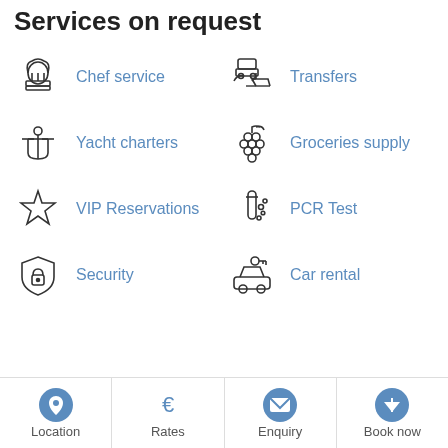Services on request
Chef service
Transfers
Yacht charters
Groceries supply
VIP Reservations
PCR Test
Security
Car rental
Location   Rates   Enquiry   Book now